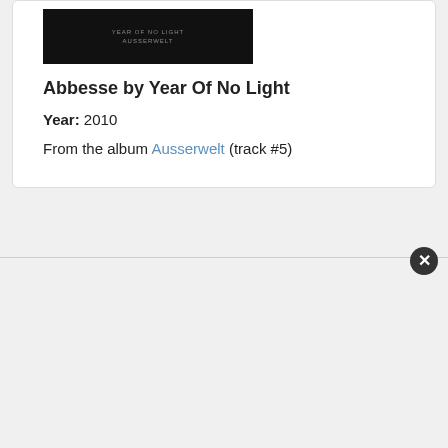[Figure (photo): Dark album cover image for Ausserwelt by Year Of No Light]
Abbesse by Year Of No Light
Year: 2010
From the album Ausserwelt (track #5)